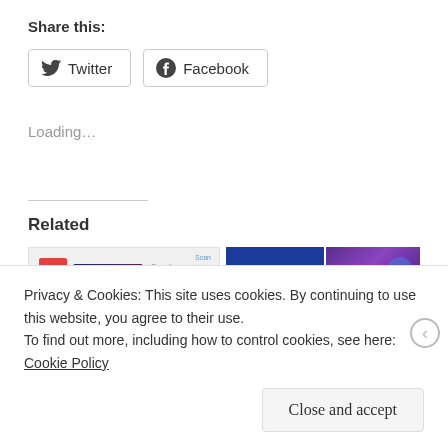Share this:
Twitter  Facebook
Loading…
Related
[Figure (screenshot): Related content thumbnails showing movie/media covers including 'The Ape Man of Forbidden' and other media]
Privacy & Cookies: This site uses cookies. By continuing to use this website, you agree to their use.
To find out more, including how to control cookies, see here: Cookie Policy
Close and accept